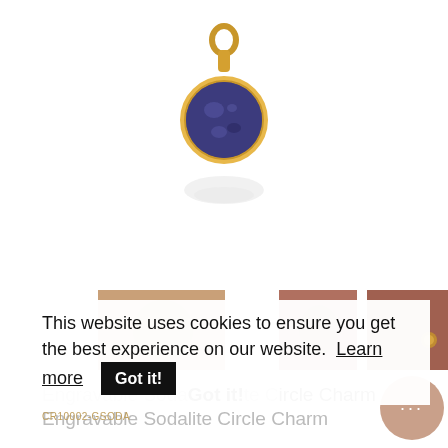[Figure (photo): Gold circular charm pendant with blue sodalite stone gemstone, photographed on white background with reflection below]
[Figure (photo): Three thumbnail images of jewelry being worn, partially visible behind cookie banner]
This website uses cookies to ensure you get the best experience on our website.  Learn more  Got it!
Engravable Sodalite Circle Charm
CR10002-GSODA
$78.00  $90.00